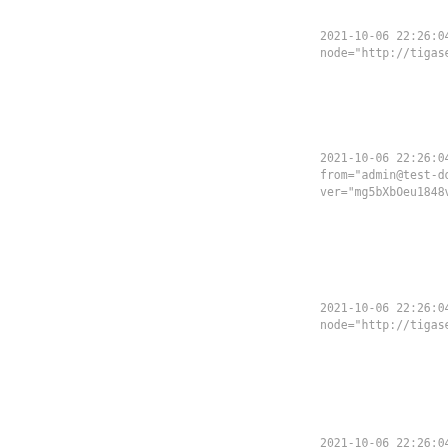2021-10-06 22:26:04 |
node="http://tigase.or
2021-10-06 22:26:04 |
from="admin@test-domai
ver="mg5bXbOeu1848vxdg
2021-10-06 22:26:04 |
node="http://tigase.or
2021-10-06 22:26:04 |
from="admin@test-domai
ver="mg5bXbOeu1848vxdg
2021-10-06 22:26:04 |
node="http://tigase.or
2021-10-06 22:26:04 |
from="admin@test-domai
ver="mg5bXbOeu1848vxdg
2021-10-06 22:26:04 |
2021-10-06 22:26:04 |
2021-10-06 22:26:04 |